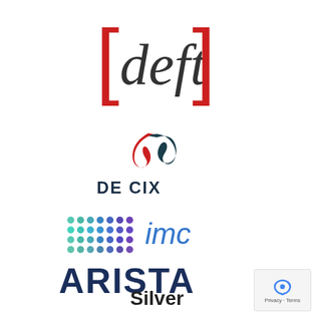[Figure (logo): deft logo with red brackets and italic lowercase text]
[Figure (logo): DE-CIX logo with red and dark teal overlapping swoosh symbol and DE CIX text in dark navy]
[Figure (logo): IMC logo with a grid of blue/teal dots and blue italic imc text]
[Figure (logo): ARISTA logo in dark navy bold uppercase letters]
Silver